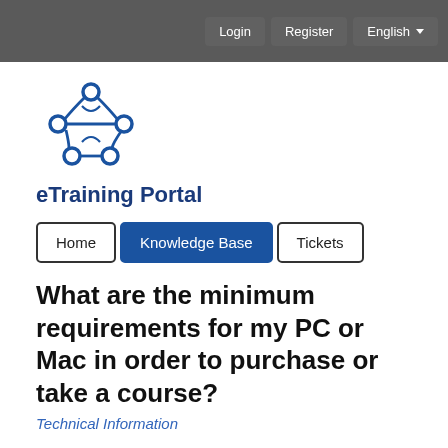Login  Register  English
[Figure (logo): eTraining Portal logo with interconnected nodes icon and blue text 'eTraining Portal']
Home  Knowledge Base  Tickets
What are the minimum requirements for my PC or Mac in order to purchase or take a course?
Technical Information
Note - It is strongly recommended that you add the URL where you're taking the online courses as a trusted site.